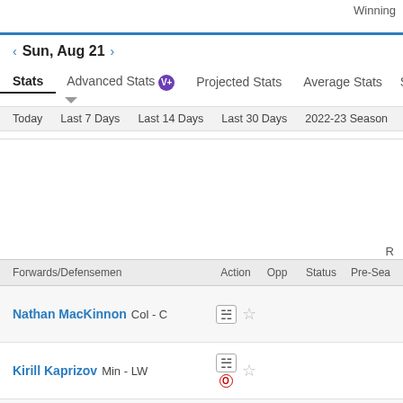Winning
Sun, Aug 21
Stats  Advanced Stats  Projected Stats  Average Stats  Sta...
Today  Last 7 Days  Last 14 Days  Last 30 Days  2022-23 Season  2021-
R
| Forwards/Defensemen | Action | Opp | Status | Pre-Sea |
| --- | --- | --- | --- | --- |
| Nathan MacKinnon Col - C |  |  |  |  |
| Kirill Kaprizov Min - LW |  |  |  |  |
| Jonathan Huberdeau Cgy - LW |  |  |  |  |
| John Tavares Tor - C |  |  |  |  |